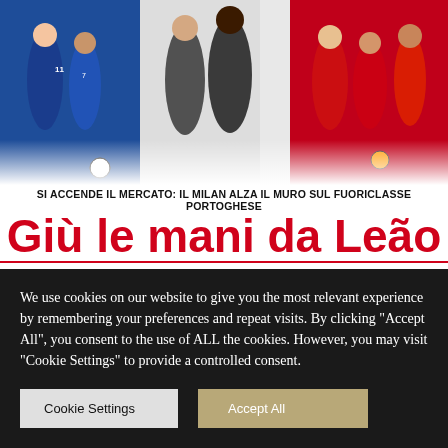[Figure (photo): Sports collage showing multiple football/soccer players from various Italian Serie A teams including AC Milan, Inter, Juventus, Napoli and others, in action poses]
SI ACCENDE IL MERCATO: IL MILAN ALZA IL MURO SUL FUORICLASSE PORTOGHESE
Giù le mani da Leão
Le big lo tentano, ma Gazidis l'ha blindato: clausola da 150 milioni
L'Inter rilancia per il rinnovo di Perisic. Il Napoli ha già preso Olivera
I tifosi nerazzurri chiamano Dybala lui strizza l'occhio «San Siro? Bella accoglienza» La Lazio su Allan
[Figure (photo): Red banner with text about Milanisti and FIGC investigation, with crowd photo below]
UNO STRISCIONE DEI MILANISTI OFFENDE L'INTER: LA FIGC INDAGA
L'INTERVISTA
Tomori sicuro «Lo scudetto è solo l'inizio
We use cookies on our website to give you the most relevant experience by remembering your preferences and repeat visits. By clicking "Accept All", you consent to the use of ALL the cookies. However, you may visit "Cookie Settings" to provide a controlled consent.
Cookie Settings
Accept All